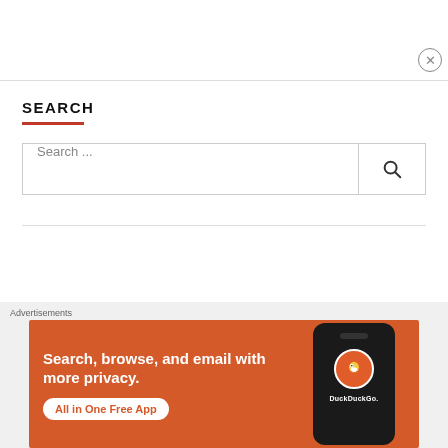SEARCH
Search ...
Advertisements
[Figure (screenshot): DuckDuckGo advertisement banner showing 'Search, browse, and email with more privacy. All in One Free App' with a phone mockup and DuckDuckGo logo on an orange-red background.]